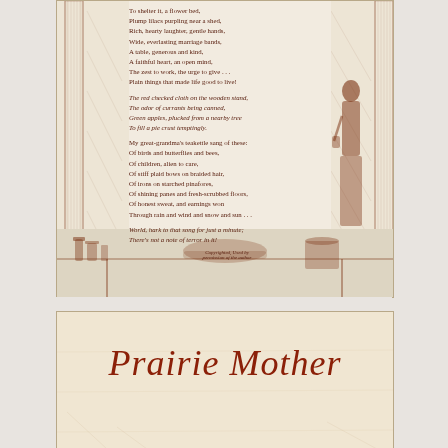[Figure (illustration): Vintage illustrated poem card with decorative column borders on left and right sides, a woman figure on the right, and kitchen items at bottom. Brown/sepia toned engraving style. The poem text is overlaid in the center.]
To shelter it, a flower bed,
Plump lilacs purpling near a shed,
Rich, hearty laughter, gentle hands,
Wide, everlasting marriage bands,
A table, generous and kind,
A faithful heart, an open mind,
The zest to work, the urge to give . . .
Plain things that made life good to live!

The red checked cloth on the wooden stand,
The odor of currants being canned,
Green apples, plucked from a nearby tree
To fill a pie crust temptingly.

My great-grandma's teakettle sang of these:
Of birds and butterflies and bees,
Of children, alien to care,
Of stiff plaid bows on braided hair,
Of irons on starched pinafores,
Of shining panes and fresh-scrubbed floors,
Of honest sweat, and earnings won
Through rain and wind and snow and sun . . .

World, hark to that song for just a minute;
There's not a note of terror in it!

Copyrighted, Used by
permission of the author
[Figure (illustration): Bottom image showing beginning of another poem card with cursive/italic title 'Prairie Mother' in reddish-brown script on aged paper background]
Prairie Mother